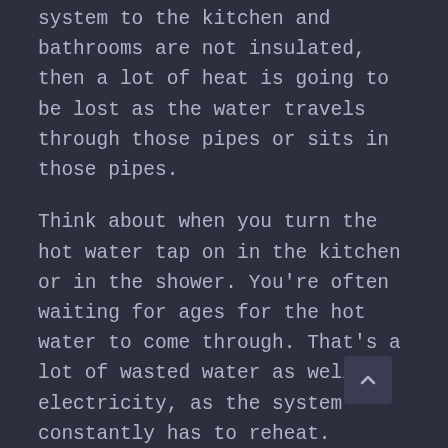system to the kitchen and bathrooms are not insulated, then a lot of heat is going to be lost as the water travels through those pipes or sits in those pipes.
Think about when you turn the hot water tap on in the kitchen or in the shower. You're often waiting for ages for the hot water to come through. That's a lot of wasted water as well as electricity, as the system constantly has to reheat.
With insulated hot water pipes, you'll discover that the waiting time is reduced considerably when you turn on the hot water